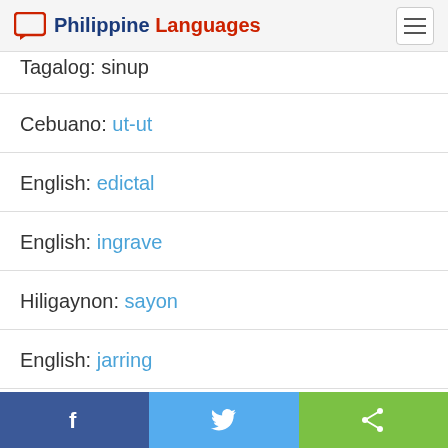Philippine Languages
Tagalog: sinup
Cebuano: ut-ut
English: edictal
English: ingrave
Hiligaynon: sayon
English: jarring
Tagalog: gapang
Facebook | Twitter | Share